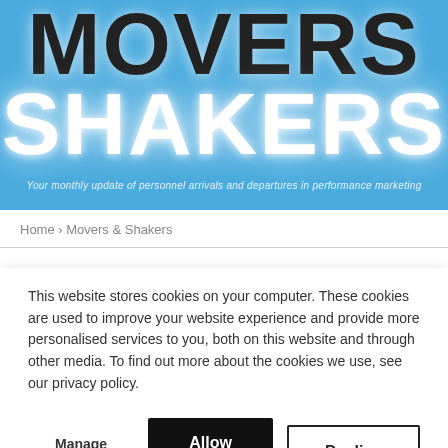[Figure (other): Movers & Shakers banner with blue background. Large bold dark text 'MOVERS' on top, large bold white text 'SHAKERS' below with glow effect, and italic tagline text underneath.]
Your monthly update of personnel arrivals and departures in performance marketing
Home › Movers & Shakers
This website stores cookies on your computer. These cookies are used to improve your website experience and provide more personalised services to you, both on this website and through other media. To find out more about the cookies we use, see our privacy policy.
Manage Cookies  Allow all  Decline